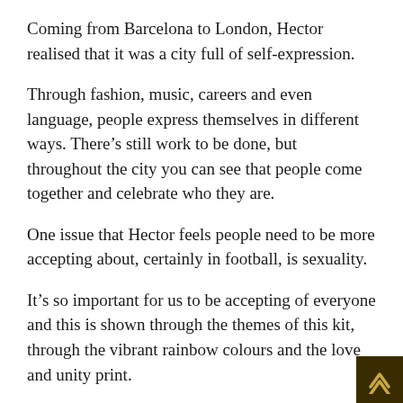Coming from Barcelona to London, Hector realised that it was a city full of self-expression.
Through fashion, music, careers and even language, people express themselves in different ways. There’s still work to be done, but throughout the city you can see that people come together and celebrate who they are.
One issue that Hector feels people need to be more accepting about, certainly in football, is sexuality.
It’s so important for us to be accepting of everyone and this is shown through the themes of this kit, through the vibrant rainbow colours and the love and unity print.
Kit 4 – United Recycled: Inspired by the condition of the plant around us